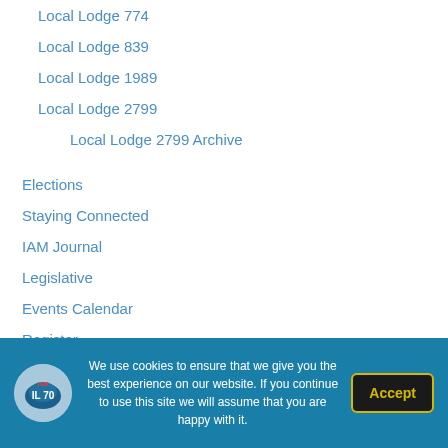Local Lodge 774
Local Lodge 839
Local Lodge 1989
Local Lodge 2799
Local Lodge 2799 Archive
Elections
Staying Connected
IAM Journal
Legislative
Events Calendar
Register
Mario's Food Pantry
We use cookies to ensure that we give you the best experience on our website. If you continue to use this site we will assume that you are happy with it.